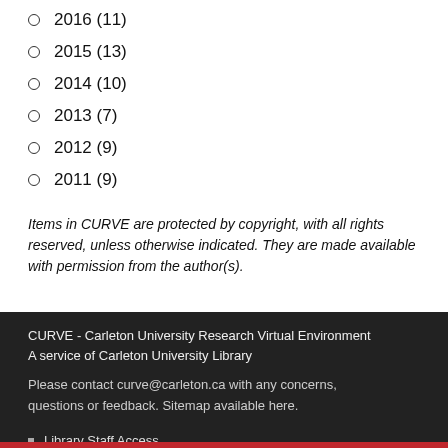2016 (11)
2015 (13)
2014 (10)
2013 (7)
2012 (9)
2011 (9)
Items in CURVE are protected by copyright, with all rights reserved, unless otherwise indicated. They are made available with permission from the author(s).
CURVE - Carleton University Research Virtual Environment
A service of Carleton University Library

Please contact curve@carleton.ca with any concerns, questions or feedback. Sitemap available here.

Library Staff Access